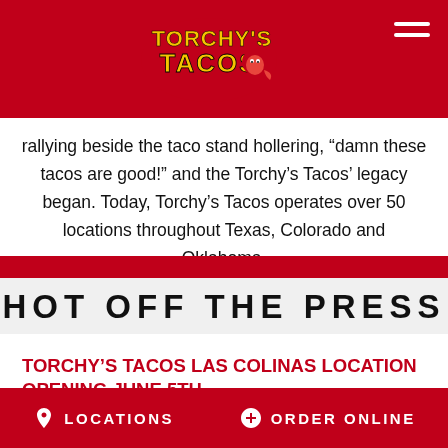Torchy's Tacos logo and navigation header
rallying beside the taco stand hollering, “damn these tacos are good!” and the Torchy’s Tacos’ legacy began. Today, Torchy’s Tacos operates over 50 locations throughout Texas, Colorado and Oklahoma.
HOT OFF THE PRESS
TORCHY’S TACOS LAS COLINAS LOCATION OPENING JUNE 5TH
STORE OPENING
5.22.18
LOCATIONS   ORDER ONLINE